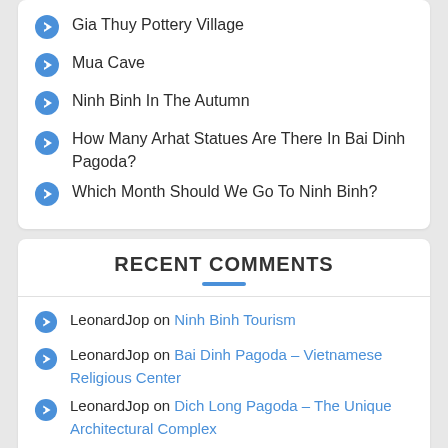Gia Thuy Pottery Village
Mua Cave
Ninh Binh In The Autumn
How Many Arhat Statues Are There In Bai Dinh Pagoda?
Which Month Should We Go To Ninh Binh?
RECENT COMMENTS
LeonardJop on Ninh Binh Tourism
LeonardJop on Bai Dinh Pagoda – Vietnamese Religious Center
LeonardJop on Dich Long Pagoda – The Unique Architectural Complex
LeonardJop on Vu Lam Palace – Ancient Relics